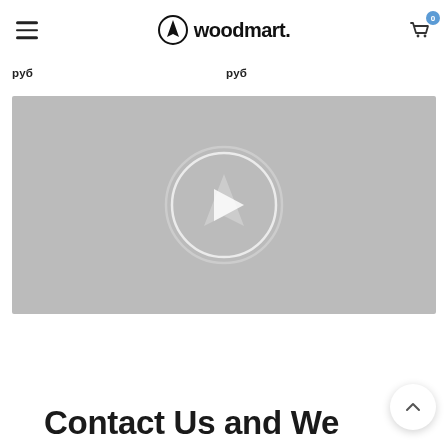woodmart.
руб руб
[Figure (screenshot): Video player placeholder with gray background, circular play button overlay and woodmart logo watermark in center]
Contact Us and We